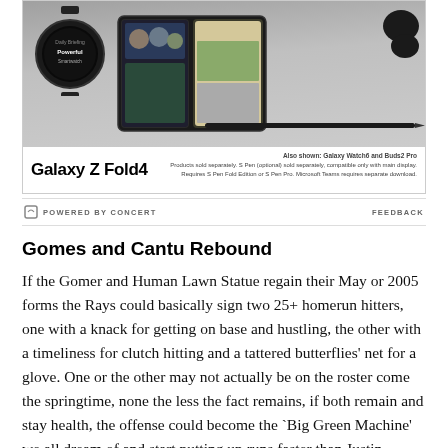[Figure (photo): Samsung Galaxy Z Fold4 advertisement showing the device along with Galaxy Watch6 and Buds2 Pro on a grey background. Bottom of ad shows the brand name 'Galaxy Z Fold4' and disclaimer text about products sold separately.]
POWERED BY CONCERT    FEEDBACK
Gomes and Cantu Rebound
If the Gomer and Human Lawn Statue regain their May or 2005 forms the Rays could basically sign two 25+ homerun hitters, one with a knack for getting on base and hustling, the other with a timeliness for clutch hitting and a tattered butterflies' net for a glove. One or the other may not actually be on the roster come the springtime, none the less the fact remains, if both remain and stay health, the offense could become the `Big Green Machine' we all dream of and start putting up runs faster than Justin Gaitlin on speed